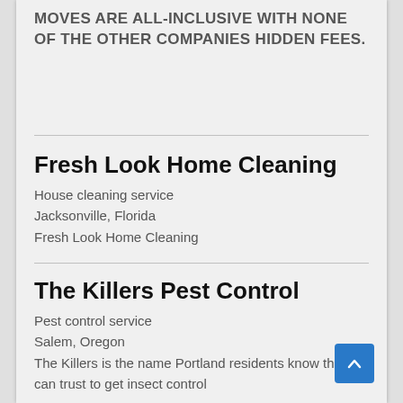MOVES ARE ALL-INCLUSIVE WITH NONE OF THE OTHER COMPANIES HIDDEN FEES.
Fresh Look Home Cleaning
House cleaning service
Jacksonville, Florida
Fresh Look Home Cleaning
The Killers Pest Control
Pest control service
Salem, Oregon
The Killers is the name Portland residents know they can trust to get insect control